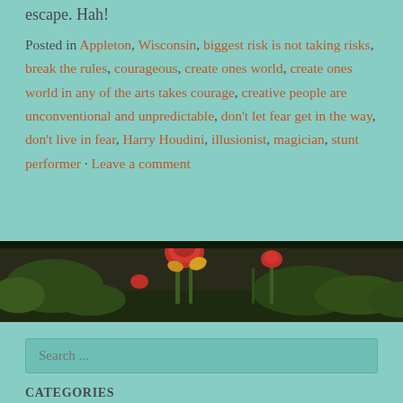escape. Hah!
Posted in Appleton, Wisconsin, biggest risk is not taking risks, break the rules, courageous, create ones world, create ones world in any of the arts takes courage, creative people are unconventional and unpredictable, don't let fear get in the way, don't live in fear, Harry Houdini, illusionist, magician, stunt performer · Leave a comment
[Figure (photo): A photo strip showing red and yellow flowers (possibly tulips or lilies) with green foliage against a dark background, spanning the full page width.]
Search ...
CATEGORIES
Select Category